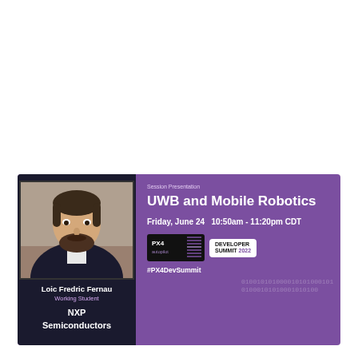[Figure (infographic): Conference session presentation card for PX4 Developer Summit 2022. Purple banner with speaker photo (Loic Fredric Fernau from NXP Semiconductors), session title 'UWB and Mobile Robotics', date/time 'Friday, June 24 10:50am - 11:20pm CDT', PX4 Autopilot logo and Developer Summit 2022 branding, hashtag #PX4DevSummit.]
Session Presentation
UWB and Mobile Robotics
Friday, June 24   10:50am - 11:20pm CDT
Loic Fredric Fernau
Working Student
NXP Semiconductors
DEVELOPER SUMMIT 2022
#PX4DevSummit